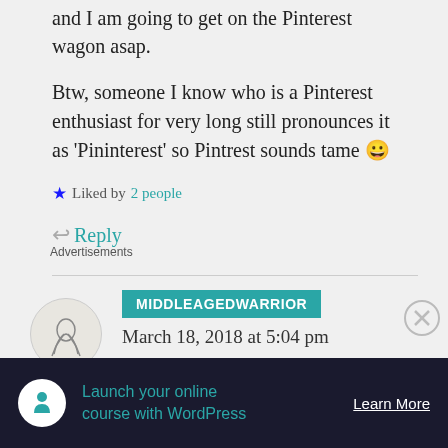and I am going to get on the Pinterest wagon asap.
Btw, someone I know who is a Pinterest enthusiast for very long still pronounces it as 'Pininterest' so Pintrest sounds tame 😀
★ Liked by 2 people
↩ Reply
MIDDLEAGEDWARRIOR
March 18, 2018 at 5:04 pm
Advertisements
Launch your online course with WordPress  Learn More